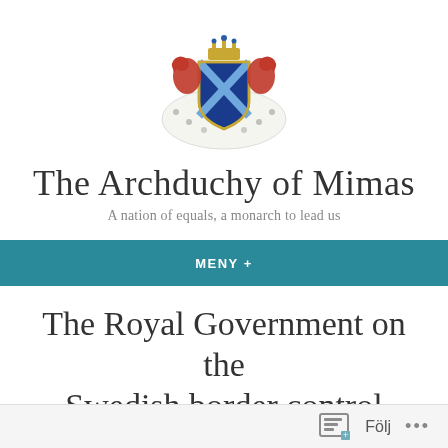[Figure (logo): Swedish royal coat of arms with two red lions on a blue and gold shield, topped with a crown, supported by two rearing horses, with a white ermine mantle]
The Archduchy of Mimas
A nation of equals, a monarch to lead us
MENY +
The Royal Government on the Swedish border control
Royal Mimas   3 november, 2016
Governmental Post, Parliamentary Post